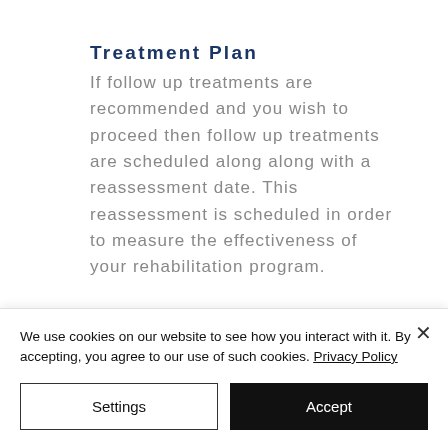Treatment Plan
If follow up treatments are recommended and you wish to proceed then follow up treatments are scheduled along along with a reassessment date. This reassessment is scheduled in order to measure the effectiveness of your rehabilitation program.
Continuous Communication on
We use cookies on our website to see how you interact with it. By accepting, you agree to our use of such cookies. Privacy Policy